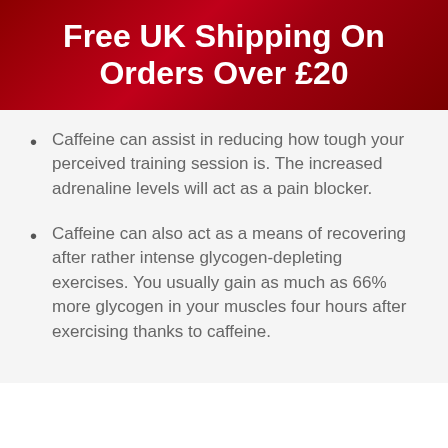Free UK Shipping On Orders Over £20
Caffeine can assist in reducing how tough your perceived training session is. The increased adrenaline levels will act as a pain blocker.
Caffeine can also act as a means of recovering after rather intense glycogen-depleting exercises. You usually gain as much as 66% more glycogen in your muscles four hours after exercising thanks to caffeine.